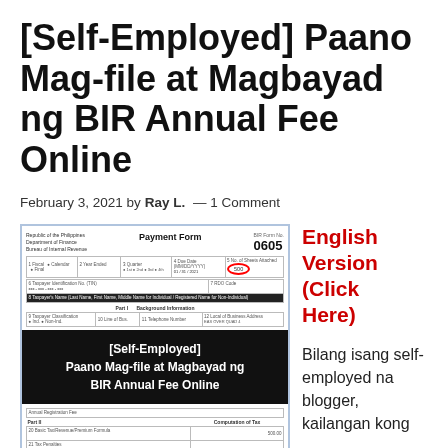[Self-Employed] Paano Mag-file at Magbayad ng BIR Annual Fee Online
February 3, 2021 by Ray L. — 1 Comment
[Figure (screenshot): Screenshot of BIR Payment Form 0605 with red circle highlights on certain fields, overlaid with a black banner reading '[Self-Employed] Paano Mag-file at Magbayad ng BIR Annual Fee Online', and a watermark from BurWalkyMind.com]
English Version (Click Here)
Bilang isang self-employed na blogger, kailangan kong